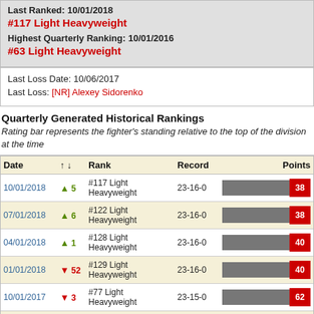Last Ranked: 10/01/2018
#117 Light Heavyweight
Highest Quarterly Ranking: 10/01/2016
#63 Light Heavyweight
Last Loss Date: 10/06/2017
Last Loss: [NR] Alexey Sidorenko
Quarterly Generated Historical Rankings
Rating bar represents the fighter's standing relative to the top of the division at the time
| Date | ↑↓ | Rank | Record | Points |
| --- | --- | --- | --- | --- |
| 10/01/2018 | ▲ 5 | #117 Light Heavyweight | 23-16-0 | 38 |
| 07/01/2018 | ▲ 6 | #122 Light Heavyweight | 23-16-0 | 38 |
| 04/01/2018 | ▲ 1 | #128 Light Heavyweight | 23-16-0 | 40 |
| 01/01/2018 | ▼ 52 | #129 Light Heavyweight | 23-16-0 | 40 |
| 10/01/2017 | ▼ 3 | #77 Light Heavyweight | 23-15-0 | 62 |
| 07/01/2017 | ▼ 4 | #74 Light Heavyweight | 23-15-0 | 62 |